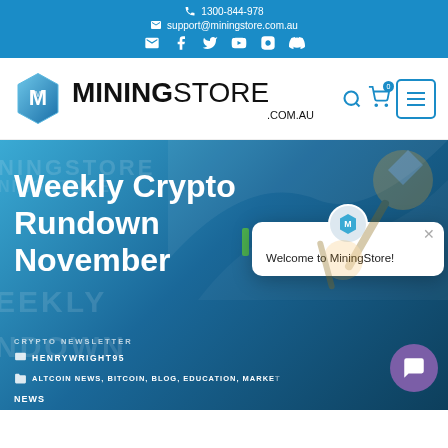1300-844-978 | support@miningstore.com.au
[Figure (logo): MiningStore.com.au logo with hexagonal M icon]
Weekly Crypto Rundown November
CRYPTO NEWSLETTER
HENRYWRIGHT95
ALTCOIN NEWS, BITCOIN, BLOG, EDUCATION, MARKET NEWS
[Figure (screenshot): Welcome to MiningStore! chat popup overlay]